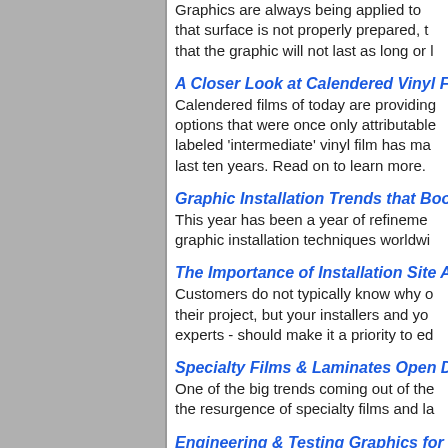Graphics are always being applied to surfaces. If that surface is not properly prepared, the risk is that the graphic will not last as long or l…
A Closer Look at Calendered Vinyl F…
Calendered films of today are providing options that were once only attributable to labeled 'intermediate' vinyl film has ma… last ten years. Read on to learn more.
Graphic Installation Trends that Boo…
This year has been a year of refineme… graphic installation techniques worldwi…
The Importance of Installation Site A…
Customers do not typically know why o… their project, but your installers and yo… experts - should make it a priority to ed…
Specialty Films & Laminates Open D…
One of the big trends coming out of the… the resurgence of specialty films and la…
Engineering & Testing Graphics for l…
How confident are you that your custo… good for the life of the intended applica… customers' brands (and your reputatio… necessary tests, standards and questi…